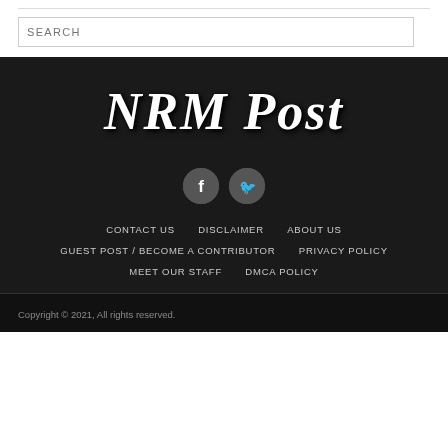SEARCH
NRM Post
[Figure (illustration): Two circular social media icons: Facebook (f) and Twitter (bird icon) on dark background]
CONTACT US
DISCLAIMER
ABOUT US
GUEST POST / BECOME A CONTRIBUTOR
PRIVACY POLICY
MEET OUR STAFF
DMCA POLICY
Copyright © 2021, All rights reserved.